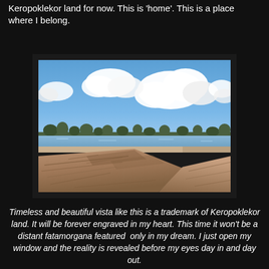Keropoklekor land for now. This is 'home'. This is a place where I belong.
[Figure (photo): Coastal landscape photo showing rocky foreground with textured rock formations, a sandy beach and calm sea in the middle distance, trees along the shoreline, and a dramatic blue sky with large white cumulus clouds overhead.]
Timeless and beautiful vista like this is a trademark of Keropoklekor land. It will be forever engraved in my heart. This time it won't be a distant fatamorgana featured only in my dream. I just open my window and the reality is revealed before my eyes day in and day out.